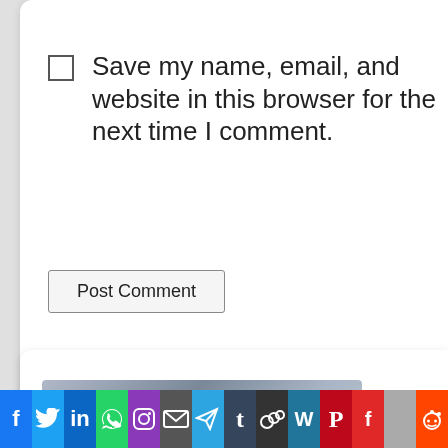Save my name, email, and website in this browser for the next time I comment.
Post Comment
[Figure (screenshot): Partial screenshot of a blurred device/raindrops image inside a white card section]
[Figure (infographic): Social media sharing icon bar: Facebook, Twitter, LinkedIn, WhatsApp, Instagram, Email, Telegram, Tumblr, MySpace, WordPress, Pinterest, Flipboard, blank, Reddit]